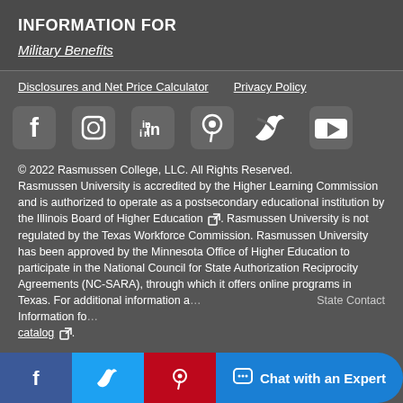INFORMATION FOR
Military Benefits
Disclosures and Net Price Calculator    Privacy Policy
[Figure (infographic): Social media icons row: Facebook, Instagram, LinkedIn, Pinterest, Twitter, YouTube — white icons on dark background]
© 2022 Rasmussen College, LLC. All Rights Reserved. Rasmussen University is accredited by the Higher Learning Commission and is authorized to operate as a postsecondary educational institution by the Illinois Board of Higher Education [external link icon]. Rasmussen University is not regulated by the Texas Workforce Commission. Rasmussen University has been approved by the Minnesota Office of Higher Education to participate in the National Council for State Authorization Reciprocity Agreements (NC-SARA), through which it offers online programs in Texas. For additional information a... State Contact Information fo... catalog [external link icon].
[Figure (infographic): Bottom share/chat bar with Facebook, Twitter, Pinterest share buttons and a blue Chat with an Expert button]